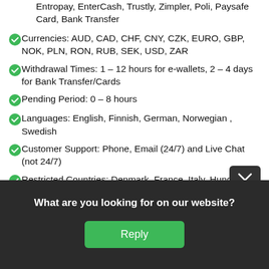Entropay, EnterCash, Trustly, Zimpler, Poli, Paysafe Card, Bank Transfer
Currencies: AUD, CAD, CHF, CNY, CZK, EURO, GBP, NOK, PLN, RON, RUB, SEK, USD, ZAR
Withdrawal Times: 1 – 12 hours for e-wallets, 2 – 4 days for Bank Transfer/Cards
Pending Period: 0 – 8 hours
Languages: English, Finnish, German, Norwegian , Swedish
Customer Support: Phone, Email (24/7) and Live Chat (not 24/7)
Restricted Countries: Denmark, France, Italy, Hungary, Portugal, Spain, Turkey, United Kingdom,
We use cookies on our website to give you the most relevant experience by remembering your preferences and repeat visits. By clicking "Accept All", you consent to the use of ALL the cookies. However, you may visit "Cookie Settings" to provide a controlled consent.
Cookie Settings
What are you looking for on our website?
Reply